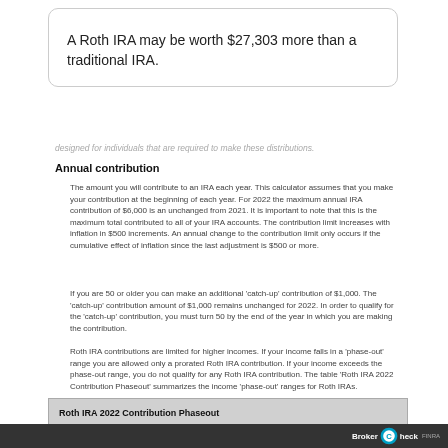A Roth IRA may be worth $27,303 more than a traditional IRA.
designed for individuals that are required to make these distributions.
Annual contribution
The amount you will contribute to an IRA each year. This calculator assumes that you make your contribution at the beginning of each year. For 2022 the maximum annual IRA contribution of $6,000 is an unchanged from 2021. It is important to note that this is the maximum total contributed to all of your IRA accounts. The contribution limit increases with inflation in $500 increments. An annual change to the contribution limit only occurs if the cumulative effect of inflation since the last adjustment is $500 or more.
If you are 50 or older you can make an additional 'catch-up' contribution of $1,000. The 'catch-up' contribution amount of $1,000 remains unchanged for 2022. In order to qualify for the 'catch-up' contribution, you must turn 50 by the end of the year in which you are making the contribution.
Roth IRA contributions are limited for higher incomes. If your income falls in a 'phase-out' range you are allowed only a prorated Roth IRA contribution. If your income exceeds the phase-out range, you do not qualify for any Roth IRA contribution. The table 'Roth IRA 2022 Contribution Phaseout' summarizes the income 'phase-out' ranges for Roth IRAs.
| Tax Filing Status | Income Phase-Out Range |
| --- | --- |
Roth IRA 2022 Contribution Phaseout
BrokerCheck FINRA